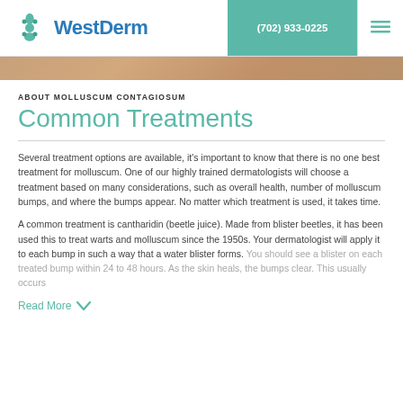[Figure (logo): WestDerm logo with teal flower/cross icon and blue text]
(702) 933-0225
[Figure (photo): Tan/skin-colored textured banner image]
ABOUT MOLLUSCUM CONTAGIOSUM
Common Treatments
Several treatment options are available, it's important to know that there is no one best treatment for molluscum. One of our highly trained dermatologists will choose a treatment based on many considerations, such as overall health, number of molluscum bumps, and where the bumps appear. No matter which treatment is used, it takes time.
A common treatment is cantharidin (beetle juice). Made from blister beetles, it has been used this to treat warts and molluscum since the 1950s. Your dermatologist will apply it to each bump in such a way that a water blister forms. You should see a blister on each treated bump within 24 to 48 hours. As the skin heals, the bumps clear. This usually occurs
Read More